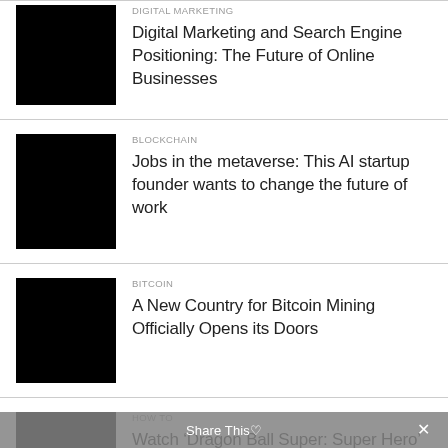[Figure (photo): Black thumbnail image for Digital Marketing article]
DIGITAL MARKETING
Digital Marketing and Search Engine Positioning: The Future of Online Businesses
[Figure (photo): Black thumbnail image for Blockchain article]
BLOCKCHAIN
Jobs in the metaverse: This AI startup founder wants to change the future of work
[Figure (photo): Black thumbnail image for Bitcoin article]
BITCOIN
A New Country for Bitcoin Mining Officially Opens its Doors
[Figure (photo): Black thumbnail image for How To article]
HOW TO
Watch ‘Dragon Ball Super: Super Hero’ Free Online: Is New Dragon Ball Streaming...
Share This♥